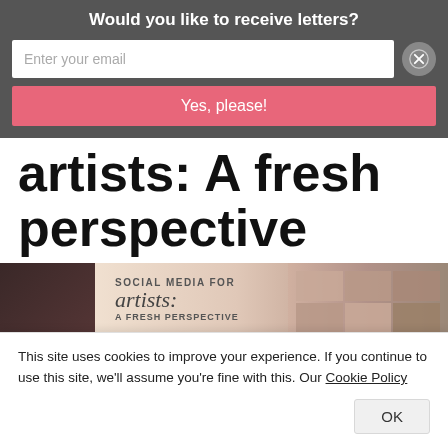Would you like to receive letters?
Enter your email
Yes, please!
artists: A fresh perspective
[Figure (screenshot): Screenshot of a social media for artists book cover showing 'SOCIAL MEDIA FOR artists: A FRESH PERSPECTIVE' text overlaid on a laptop with Instagram grid visible]
This site uses cookies to improve your experience. If you continue to use this site, we'll assume you're fine with this. Our Cookie Policy
OK